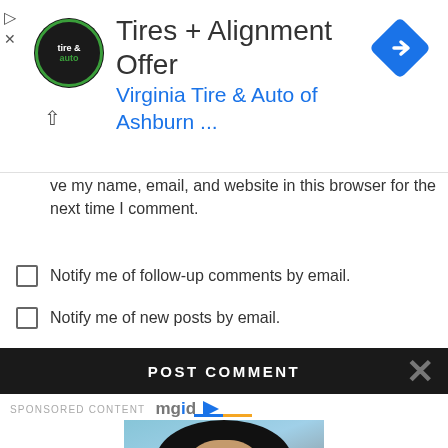[Figure (screenshot): Ad banner for Virginia Tire & Auto of Ashburn showing logo, 'Tires + Alignment Offer', and navigation arrow icon]
ve my name, email, and website in this browser for the next time I comment.
Notify me of follow-up comments by email.
Notify me of new posts by email.
POST COMMENT
SPONSORED CONTENT mgid
[Figure (photo): Photo of a woman dressed as Cleopatra with heavy eye makeup, dark braided wig, and gold jewelry]
The 10 Biggest Historical Mysteries That Can't Be Solved